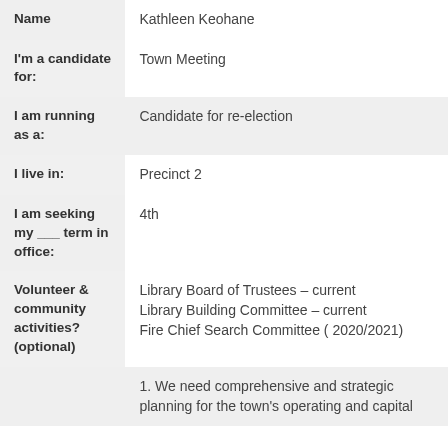| Field | Value |
| --- | --- |
| Name | Kathleen Keohane |
| I'm a candidate for: | Town Meeting |
| I am running as a: | Candidate for re-election |
| I live in: | Precinct 2 |
| I am seeking my ___ term in office: | 4th |
| Volunteer & community activities? (optional) | Library Board of Trustees – current
Library Building Committee – current
Fire Chief Search Committee ( 2020/2021) |
|  | 1. We need comprehensive and strategic planning for the town's operating and capital |